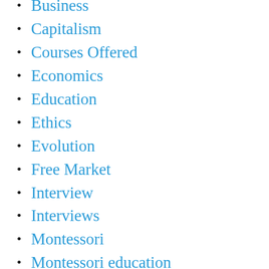Business
Capitalism
Courses Offered
Economics
Education
Ethics
Evolution
Free Market
Interview
Interviews
Montessori
Montessori education
Neuropsychology
Objectivism
Philosophy
Politics
Politics and Culture